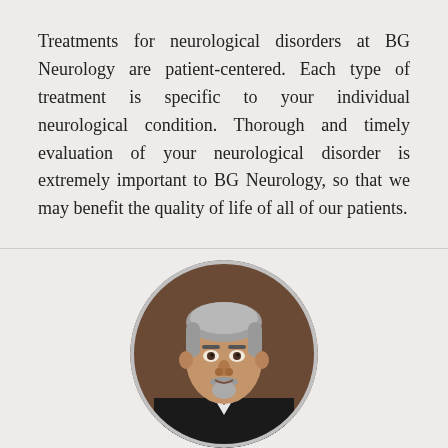Treatments for neurological disorders at BG Neurology are patient-centered. Each type of treatment is specific to your individual neurological condition. Thorough and timely evaluation of your neurological disorder is extremely important to BG Neurology, so that we may benefit the quality of life of all of our patients.
[Figure (photo): Circular portrait photo of a middle-aged man with grey hair and a goatee, wearing a dark suit jacket and white shirt, photographed indoors.]